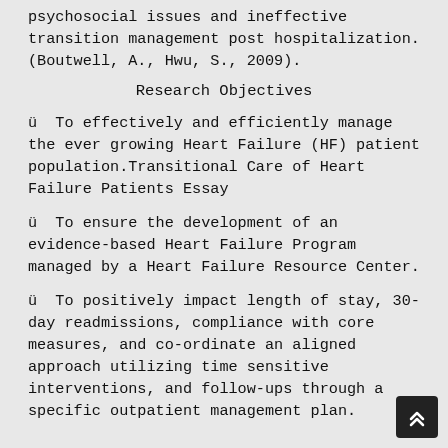psychosocial issues and ineffective transition management post hospitalization. (Boutwell, A., Hwu, S., 2009).
Research Objectives
ü  To effectively and efficiently manage the ever growing Heart Failure (HF) patient population.Transitional Care of Heart Failure Patients Essay
ü  To ensure the development of an evidence-based Heart Failure Program managed by a Heart Failure Resource Center.
ü  To positively impact length of stay, 30-day readmissions, compliance with core measures, and co-ordinate an aligned approach utilizing time sensitive interventions, and follow-ups through a specific outpatient management plan.